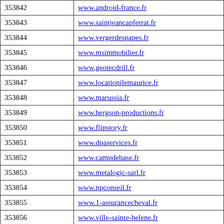| ID | URL |
| --- | --- |
| 353842 | www.android-france.fr |
| 353843 | www.saintjeancapferrat.fr |
| 353844 | www.vergerdespapes.fr |
| 353845 | www.msimmobilier.fr |
| 353846 | www.geotecdrill.fr |
| 353847 | www.locationilemaurice.fr |
| 353848 | www.marussia.fr |
| 353849 | www.bergson-productions.fr |
| 353850 | www.flipstory.fr |
| 353851 | www.dpaservices.fr |
| 353852 | www.campdebase.fr |
| 353853 | www.metalogic-sarl.fr |
| 353854 | www.npconseil.fr |
| 353855 | www.1-assurancecheval.fr |
| 353856 | www.ville-sainte-helene.fr |
| 353857 | www.easyserv.fr |